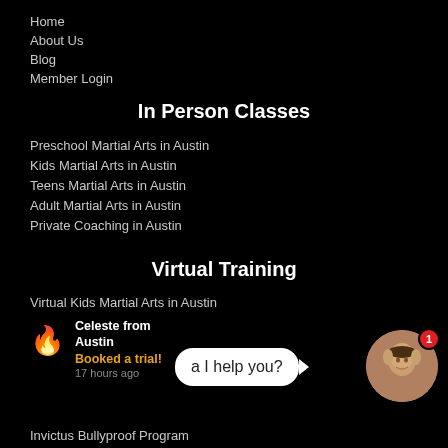Home
About Us
Blog
Member Login
In Person Classes
Preschool Martial Arts in Austin
Kids Martial Arts in Austin
Teens Martial Arts in Austin
Adult Martial Arts in Austin
Private Coaching in Austin
Virtual Training
Virtual Kids Martial Arts in Austin
Celeste from Austin
Booked a trial!
17 hours ago
a I help you?
Invictus Bullyproof Program